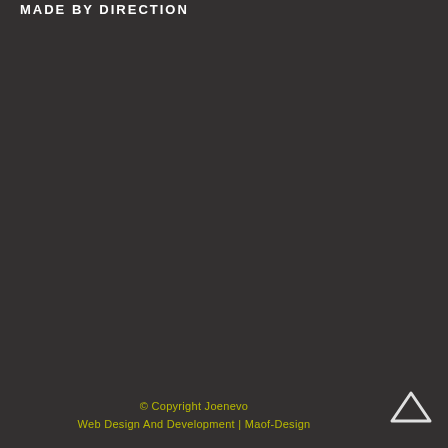MADE BY DIRECTION
© Copyright Joenevo
Web Design And Development | Maof-Design